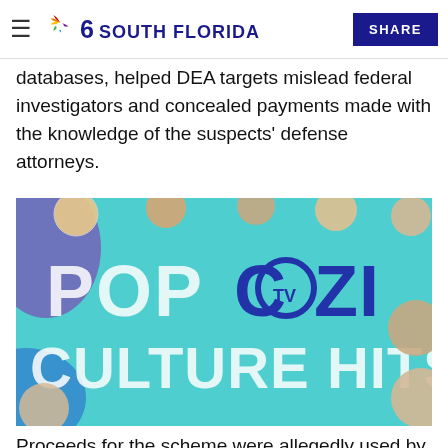NBC 6 South Florida | SHARE
databases, helped DEA targets mislead federal investigators and concealed payments made with the knowledge of the suspects' defense attorneys.
[Figure (photo): Advertisement for Cozi TV showing 'POP CULTURE HITS' text on a teal background with illustrated classic TV character heads around the border.]
Proceeds for the scheme were allegedly used by Costanzo to repair his Porsche, purchase airline tickets and make a